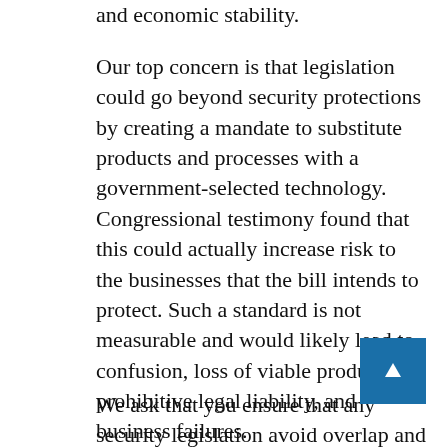and economic stability.
Our top concern is that legislation could go beyond security protections by creating a mandate to substitute products and processes with a government-selected technology. Congressional testimony found that this could actually increase risk to the businesses that the bill intends to protect. Such a standard is not measurable and would likely lead to confusion, loss of viable products, prohibitive legal liability, and business failures.
We ask that you ensure that any security legislation avoid overlap and conflict with